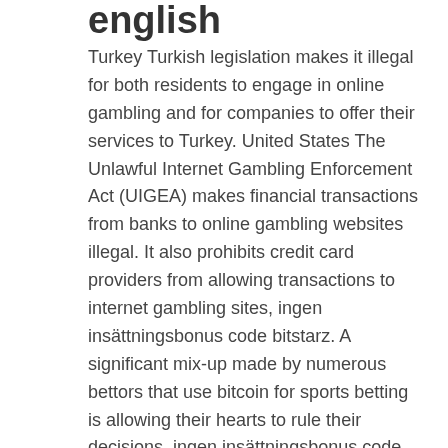english
Turkey Turkish legislation makes it illegal for both residents to engage in online gambling and for companies to offer their services to Turkey. United States The Unlawful Internet Gambling Enforcement Act (UIGEA) makes financial transactions from banks to online gambling websites illegal. It also prohibits credit card providers from allowing transactions to internet gambling sites, ingen insättningsbonus code bitstarz. A significant mix-up made by numerous bettors that use bitcoin for sports betting is allowing their hearts to rule their decisions, ingen insättningsbonus code bitstarz. End-to-end crypto sports betting sites, bitstarz casino bonus codes 2022. Play slots at jackpot city casino with free spins no deposit, exclusive for spinmybonus. Steps to getting your jackpot city casino no deposit bonus. Jackpotcity is the best microgaming casino online! here you can read all information